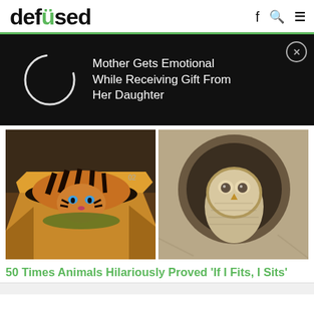[Figure (logo): Defused website logo with green dot on letter i]
[Figure (infographic): Advertisement banner: dark background with circular spinner icon and text 'Mother Gets Emotional While Receiving Gift From Her Daughter' with close button]
[Figure (photo): Tiger sitting inside a cardboard box, labeled 02]
[Figure (photo): Owl camouflaged in a tree hollow, stone-like appearance]
50 Times Animals Hilariously Proved 'If I Fits, I Sits'